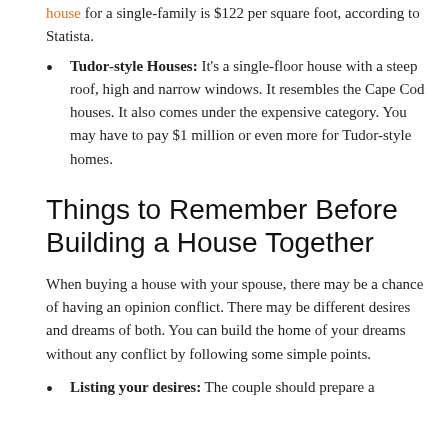house for a single-family is $122 per square foot, according to Statista.
Tudor-style Houses: It's a single-floor house with a steep roof, high and narrow windows. It resembles the Cape Cod houses. It also comes under the expensive category. You may have to pay $1 million or even more for Tudor-style homes.
Things to Remember Before Building a House Together
When buying a house with your spouse, there may be a chance of having an opinion conflict. There may be different desires and dreams of both. You can build the home of your dreams without any conflict by following some simple points.
Listing your desires: The couple should prepare a